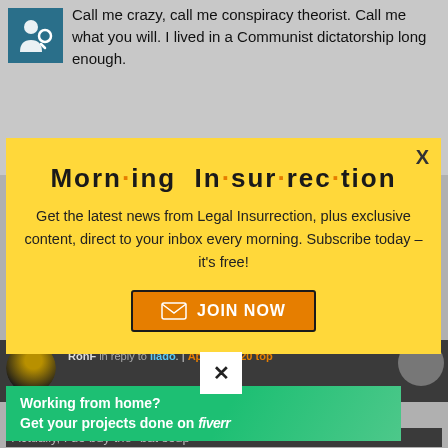Call me crazy, call me conspiracy theorist. Call me what you will. I lived in a Communist dictatorship long enough.
[Figure (infographic): Morning Insurrection newsletter popup modal with yellow background, bold title 'Morn·ing In·sur·rec·tion', subtitle about getting latest news from Legal Insurrection, and orange JOIN NOW button]
RonF in reply to liado. | April 5, 2020 top
[Figure (infographic): Fiverr advertisement banner: green gradient background with white text 'Working from home? Get your projects done on fiverr']
Actually, I do buy the "bat soup"